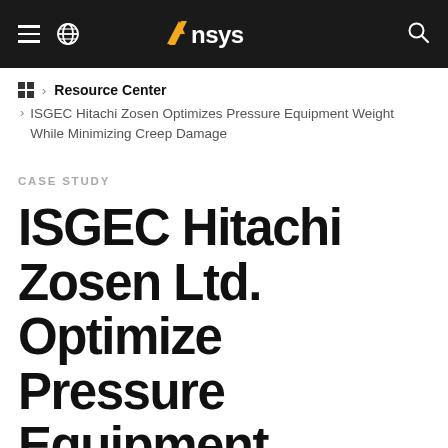Ansys navigation bar with hamburger menu, globe icon, Ansys logo, and search icon
⊞ › Resource Center
› ISGEC Hitachi Zosen Optimizes Pressure Equipment Weight While Minimizing Creep Damage
CASE STUDY
ISGEC Hitachi Zosen Ltd. Optimize Pressure Equipment Weight